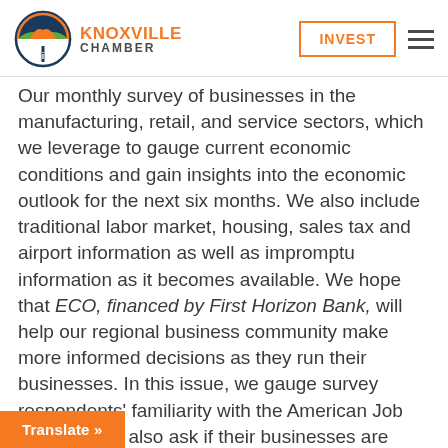Knoxville Chamber | INVEST
Our monthly survey of businesses in the manufacturing, retail, and service sectors, which we leverage to gauge current economic conditions and gain insights into the economic outlook for the next six months. We also include traditional labor market, housing, sales tax and airport information as well as impromptu information as it becomes available. We hope that ECO, financed by First Horizon Bank, will help our regional business community make more informed decisions as they run their businesses. In this issue, we gauge survey respondents' familiarity with the American Job Centers. We also ask if their businesses are being negatively impacted by labor restrictions.